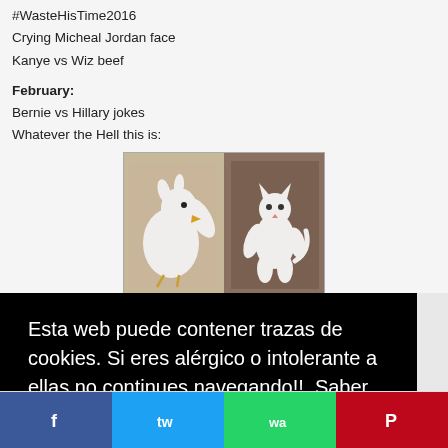#WasteHisTime2016
Crying Micheal Jordan face
Kanye vs Wiz beef
February:
Bernie vs Hillary jokes
Whatever the Hell this is:
[Figure (photo): Two white fluffy animals: a white bird/chicken on a brownish background on the left, and a white cat standing upright on a dark background on the right]
The Life of Pablo
Daaaaaaaaaamn Daniel!
Leo wins an Oscar
March:
If young metro don't trust you
Find you a man who can do both
Esta web puede contener trazas de cookies. Si eres alérgico o intolerante a ellas no continues navegando!!  Saber Más
Cerrar